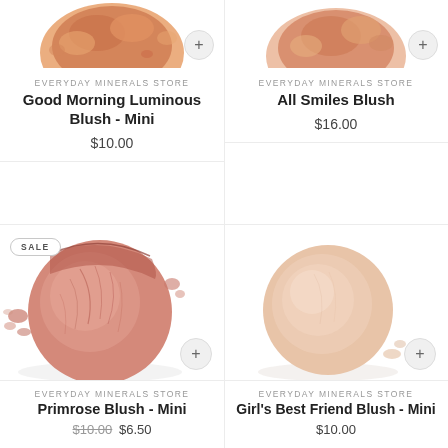[Figure (photo): Crushed orange-peach blush powder, top-cropped]
EVERYDAY MINERALS STORE
Good Morning Luminous Blush - Mini
$10.00
[Figure (photo): Crushed peach blush powder, top-cropped]
EVERYDAY MINERALS STORE
All Smiles Blush
$16.00
[Figure (photo): Round pink blush puck, cracked surface, with SALE badge]
EVERYDAY MINERALS STORE
Primrose Blush - Mini
$10.00 $6.50
[Figure (photo): Round pale peach/cream blush puck, smooth surface]
EVERYDAY MINERALS STORE
Girl's Best Friend Blush - Mini
$10.00